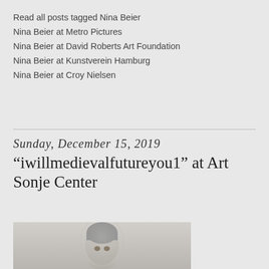Read all posts tagged Nina Beier
Nina Beier at Metro Pictures
Nina Beier at David Roberts Art Foundation
Nina Beier at Kunstverein Hamburg
Nina Beier at Croy Nielsen
Sunday, December 15, 2019
“iwillmedievalfutureyou1” at Art Sonje Center
[Figure (photo): A sculptural head or mannequin with grey/white hair and a transparent glass or plastic dome covering it, photographed against a light grey background.]